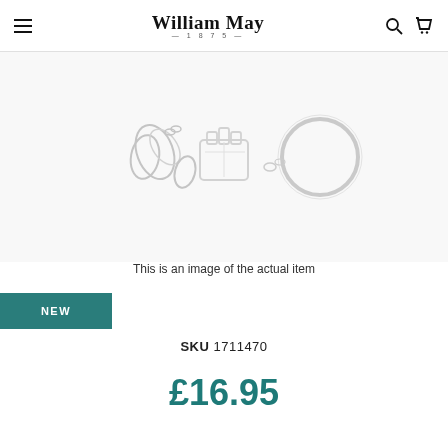William May 1875
[Figure (photo): Product photo showing silver jewelry items including rings and charms against a white background]
This is an image of the actual item
NEW
SKU  1711470
£16.95